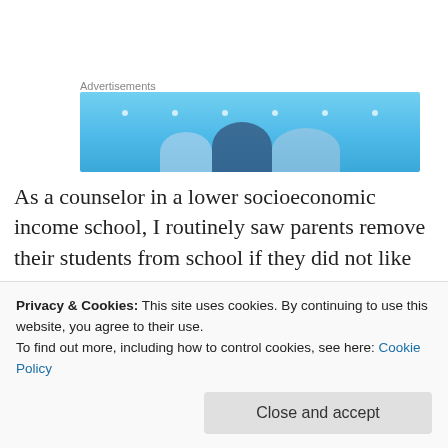[Figure (other): Advertisement banner with light blue background, small white dots, and three semicircle shapes at the bottom (light blue, dark navy, light blue)]
As a counselor in a lower socioeconomic income school, I routinely saw parents remove their students from school if they did not like something. They would pretend they were going to "homeschool" them but they would move to a smaller town. In my state as in many others, there is no monitoring or accountability on homeschoolers. No
Privacy & Cookies: This site uses cookies. By continuing to use this website, you agree to their use.
To find out more, including how to control cookies, see here: Cookie Policy
Close and accept
money if students aren't in school. They don't have to pay